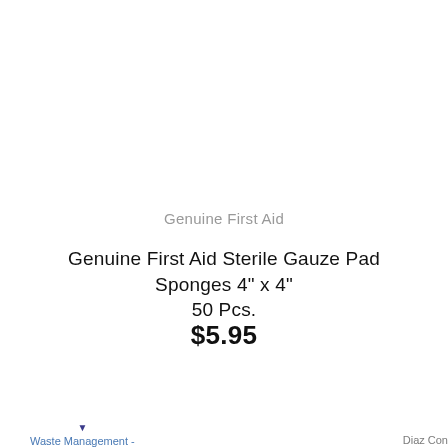Genuine First Aid
Genuine First Aid Sterile Gauze Pad Sponges 4" x 4" 50 Pcs.
$5.95
Waste Management - | Diaz Cons